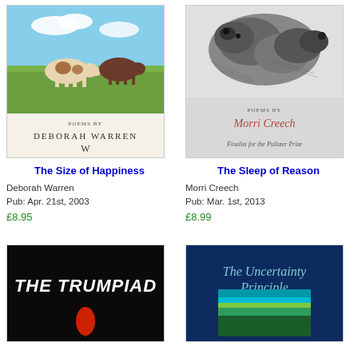[Figure (illustration): Book cover of 'The Size of Happiness' by Deborah Warren featuring cows grazing in a field under blue sky]
The Size of Happiness
Deborah Warren
Pub: Apr. 21st, 2003
£8.95
[Figure (illustration): Book cover of 'The Sleep of Reason' by Morri Creech featuring a black and white illustration of a sleeping figure, Finalist for the Pulitzer Prize]
The Sleep of Reason
Morri Creech
Pub: Mar. 1st, 2013
£8.99
[Figure (illustration): Book cover of 'The Trumpiad' with white stylized text on black background with a red shape]
[Figure (illustration): Book cover of 'The Uncertainty Principle' with teal and dark blue colors and landscape image]